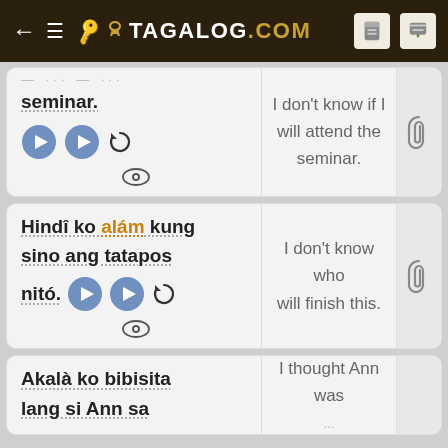TAGALOG.COM
seminar. [play] [play] [refresh] [eye] | I don't know if I will attend the seminar.
Hindî ko alám kung sino ang tatapos nitó. [play] [play] [refresh] [eye] | I don't know who will finish this.
Akalà ko bibisita lang si Ann sa | I thought Ann was ...